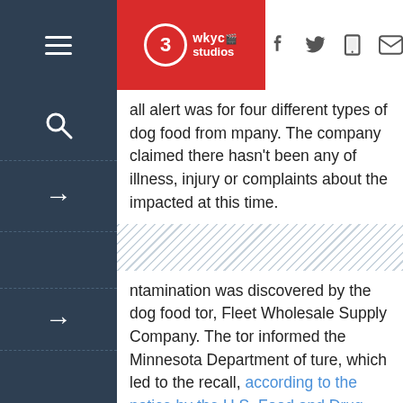3 WKYC Studios — Navigation bar with hamburger menu, logo, and social icons (Facebook, Twitter, mobile, email)
all alert was for four different types of dog food from mpany. The company claimed there hasn't been any of illness, injury or complaints about the impacted at this time.
ntamination was discovered by the dog food tor, Fleet Wholesale Supply Company. The tor informed the Minnesota Department of ture, which led to the recall, according to the notice by the U.S. Food and Drug Administration.
g food products involved in the recall include the g: